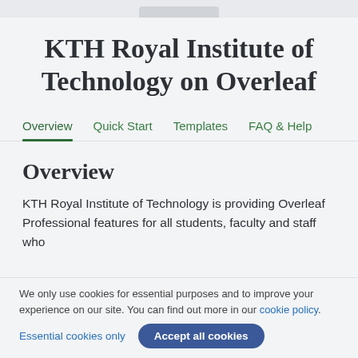KTH Royal Institute of Technology on Overleaf
Overview | Quick Start | Templates | FAQ & Help
Overview
KTH Royal Institute of Technology is providing Overleaf Professional features for all students, faculty and staff who
We only use cookies for essential purposes and to improve your experience on our site. You can find out more in our cookie policy.
Essential cookies only   Accept all cookies